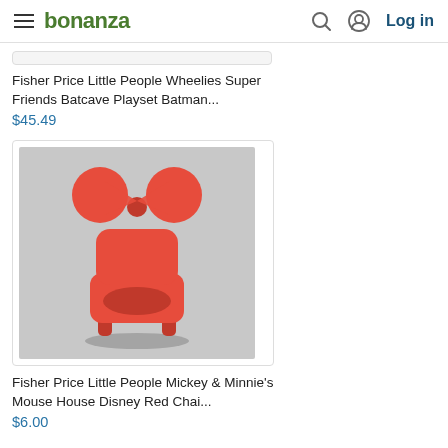bonanza — Log in
[Figure (photo): Partial product card for Fisher Price Little People Wheelies Super Friends Batcave Playset Batman (cut off at top)]
Fisher Price Little People Wheelies Super Friends Batcave Playset Batman...
$45.49
[Figure (photo): Red Minnie Mouse shaped chair toy — Fisher Price Little People Mickey & Minnie's Mouse House Disney Red Chair]
Fisher Price Little People Mickey & Minnie's Mouse House Disney Red Chai...
$6.00